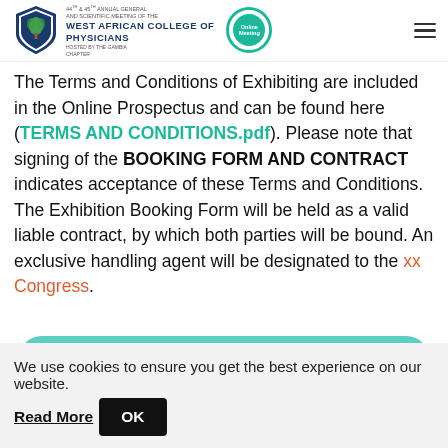44th & 45th Annual General and Scientific Meeting of the West African College of Physicians — Hosted by The Gambia Chapter. Online Meeting badge. Hamburger menu.
The Terms and Conditions of Exhibiting are included in the Online Prospectus and can be found here (TERMS AND CONDITIONS.pdf). Please note that signing of the BOOKING FORM AND CONTRACT indicates acceptance of these Terms and Conditions. The Exhibition Booking Form will be held as a valid liable contract, by which both parties will be bound. An exclusive handling agent will be designated to the xx Congress.
DOWNLOAD PRINTABLE PROSPECTUS
We use cookies to ensure you get the best experience on our website.
Read More
OK